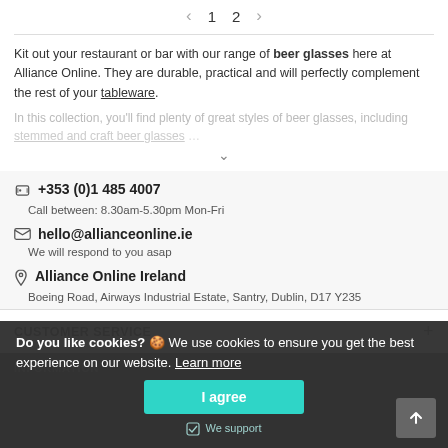< 1 2 >
Kit out your restaurant or bar with our range of beer glasses here at Alliance Online. They are durable, practical and will perfectly complement the rest of your tableware.
In this collection, you'll find plenty of great styles of beer glasses, including stemmed and craft beer glasses …
📞 +353 (0)1 485 4007
Call between: 8.30am-5.30pm Mon-Fri
✉ hello@allianceonline.ie
We will respond to you asap
📍 Alliance Online Ireland
Boeing Road, Airways Industrial Estate, Santry, Dublin, D17 Y235
CUSTOMER SERVICE
INFORMATION
Do you like cookies? 🍪 We use cookies to ensure you get the best experience on our website. Learn more
I agree
We support